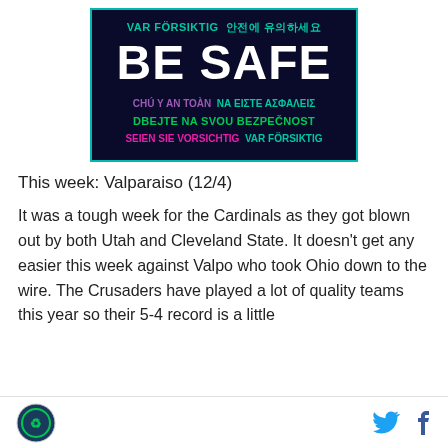[Figure (infographic): Dark navy blue banner with 'BE SAFE' in large white bold text, surrounded by multilingual safety messages in teal, purple, and green text. Languages include Swedish, Korean, Vietnamese, Greek, Czech, German.]
This week: Valparaiso (12/4)
It was a tough week for the Cardinals as they got blown out by both Utah and Cleveland State. It doesn't get any easier this week against Valpo who took Ohio down to the wire. The Crusaders have played a lot of quality teams this year so their 5-4 record is a little
[logo] [twitter icon] [facebook icon]